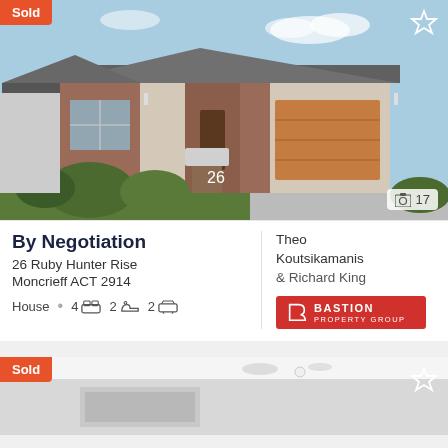[Figure (photo): Exterior photo of a single-storey brick house with a brown garage door, front garden, and house number 26. Blue sky background.]
Sold
17
By Negotiation
26 Ruby Hunter Rise
Moncrieff ACT 2914
House • 4 [bed] 2 [bath] 2 [car]
Theo Koutsikamanis & Richard King
[Figure (logo): Bastion Property Group red logo]
[Figure (photo): Partial interior photo of a bathroom/room, cropped. Shows ceiling and partial room view.]
Sold